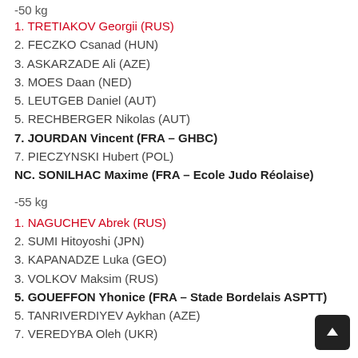-50 kg (truncated top)
1. TRETIAKOV Georgii (RUS)
2. FECZKO Csanad (HUN)
3. ASKARZADE Ali (AZE)
3. MOES Daan (NED)
5. LEUTGEB Daniel (AUT)
5. RECHBERGER Nikolas (AUT)
7. JOURDAN Vincent (FRA – GHBC)
7. PIECZYNSKI Hubert (POL)
NC. SONILHAC Maxime (FRA – Ecole Judo Réolaise)
-55 kg
1. NAGUCHEV Abrek (RUS)
2. SUMI Hitoyoshi (JPN)
3. KAPANADZE Luka (GEO)
3. VOLKOV Maksim (RUS)
5. GOUEFFON Yhonice (FRA – Stade Bordelais ASPTT)
5. TANRIVERDIYEV Aykhan (AZE)
7. VEREDYBA Oleh (UKR)